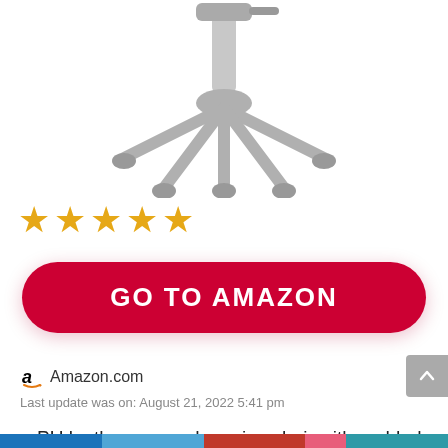[Figure (photo): Bottom portion of a gray gaming/office chair showing the base with wheels and gas lift cylinder, on white background]
[Figure (other): Four orange star rating icons indicating a 4-star rating]
GO TO AMAZON
Amazon.com
Last update was on: August 21, 2022 5:41 pm
PU leather covered gaming chair with padded armrests provides extra comfort
[Figure (other): Bottom social sharing bar with colored sections (blue, light blue, red, pink, teal)]